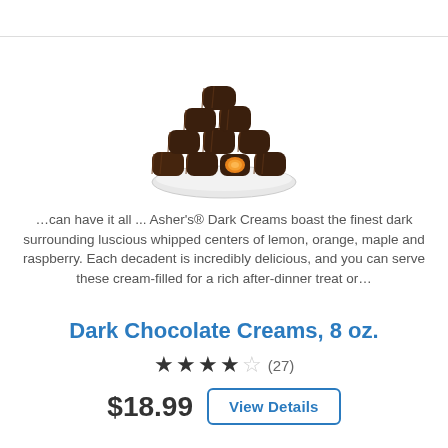[Figure (photo): A plate of dark chocolate cream candies piled high, with one candy cut open showing an orange-colored cream filling inside.]
…can have it all ... Asher's® Dark Creams boast the finest dark surrounding luscious whipped centers of lemon, orange, maple and raspberry. Each decadent is incredibly delicious, and you can serve these cream-filled for a rich after-dinner treat or…
Dark Chocolate Creams, 8 oz.
★★★★☆ (27)
$18.99  View Details